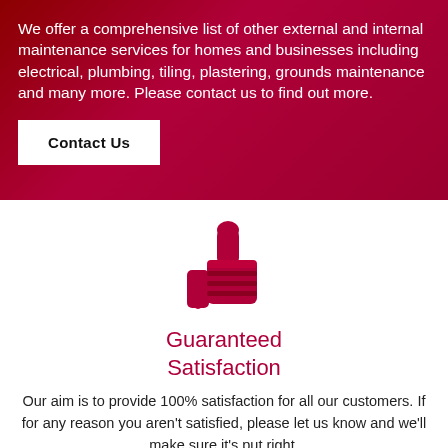We offer a comprehensive list of other external and internal maintenance services for homes and businesses including electrical, plumbing, tiling, plastering, grounds maintenance and many more. Please contact us to find out more.
Contact Us
[Figure (illustration): Red thumbs-up icon centered on white background]
Guaranteed Satisfaction
Our aim is to provide 100% satisfaction for all our customers. If for any reason you aren't satisfied, please let us know and we'll make sure it's put right.
[Figure (illustration): Partial red circular icon at bottom center, cut off]